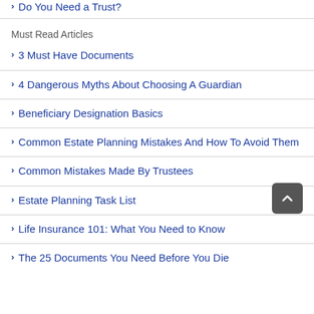> Do You Need a Trust?
Must Read Articles
> 3 Must Have Documents
> 4 Dangerous Myths About Choosing A Guardian
> Beneficiary Designation Basics
> Common Estate Planning Mistakes And How To Avoid Them
> Common Mistakes Made By Trustees
> Estate Planning Task List
> Life Insurance 101: What You Need to Know
> The 25 Documents You Need Before You Die